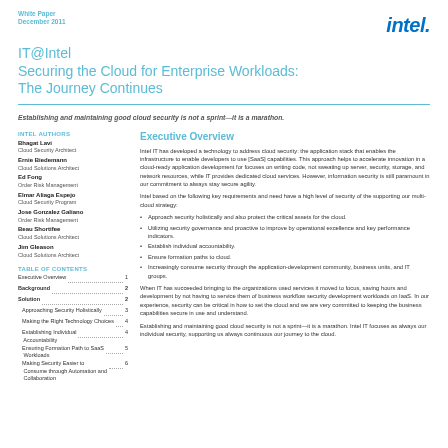White Paper
December 2011
IT@Intel
Securing the Cloud for Enterprise Workloads:
The Journey Continues
Establishing and maintaining good cloud security is not a sprint—it is a marathon.
Intel Authors
Bhagat Lavi
Cloud Security Architect
Ernie Biedemann
Cloud Solutions Architect
Ed Fong
Order Risk Management
Elmar Aliaga Espejo
Cloud Security Program
Jose Gonzalez Galiano
Order Risk Management
Beau Shortifee
Cloud Solutions Architect
Jim Gleason
Cloud Solutions Architect
Table of Contents
Executive Overview . . . . . . . . . . . . . . . 1
Background . . . . . . . . . . . . . . . . . . . . 2
Solution . . . . . . . . . . . . . . . . . . . . . . 2
Approaching Security Holistically . . . 3
Making the Right Technology Choices . . 4
Establishing Individual Accountability . . . . . . . . . . . . . . . . 4
Ensuring Formation Path to SaaS Workloads . . . . . . . . . . . 5
Making Security Easier to Consume through Automation and Collaboration . . . . . . . . . . . . 6
Executive Overview
Intel IT has developed a technology to address cloud security: the application stack that enables the infrastructure to enable developers to use [SaaS] capabilities. This approach helps to accelerate innovation in a cloud-ready application development for focuses on writing code, not sweating up server, security, storage, and network resources, while IT provides dedicated cloud services. However, information security is still paramount in our commitment to always stay secure agility.
Intel based on the following key requirements and need have a high level of security of the supporting our multi-cloud strategy:
Approach security holistically and also protect the critical assets for the cloud.
Utilizing security governance and proactive to protect by operational excellence and key performance indicators.
Establish individual accountability.
Ensure formation paths to cloud.
Increasingly consume security through the application-development community, business units, and IT groups.
When IT has succeeded bringing to the organizations used services it moved to focus, saving hours and development by not having to service them of business workflow security development workloads on IaaS. In our experience, security can be critical in how to set the cloud and we are very committed to keeping the business capabilities secure in use and understand.
Establishing and maintaining good cloud security is not a sprint—it is a marathon. Intel IT focuses as always our individual security, supporting us always continuous our journey to the cloud.